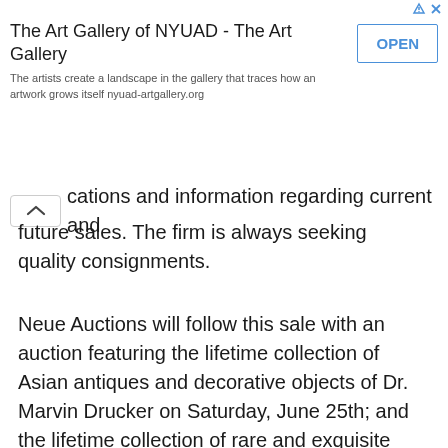[Figure (screenshot): Advertisement banner for The Art Gallery of NYUAD with title, description, and OPEN button]
cations and information regarding current and future sales. The firm is always seeking quality consignments.
Neue Auctions will follow this sale with an auction featuring the lifetime collection of Asian antiques and decorative objects of Dr. Marvin Drucker on Saturday, June 25th; and the lifetime collection of rare and exquisite Moser glass pieces of Carol and Leslie Gould on Saturday, July 30th.  Both events will be online-only, per usual, and will start promptly at 10 am Eastern time.